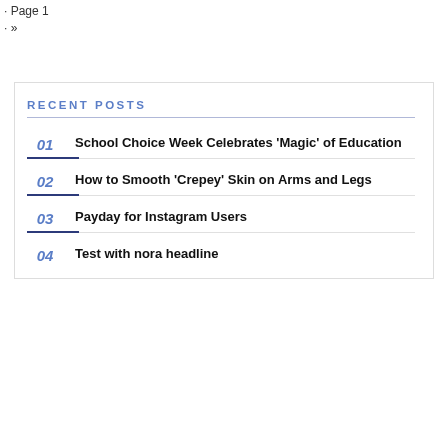Page 1
»
RECENT POSTS
01 School Choice Week Celebrates 'Magic' of Education
02 How to Smooth 'Crepey' Skin on Arms and Legs
03 Payday for Instagram Users
04 Test with nora headline